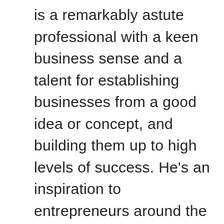is a remarkably astute professional with a keen business sense and a talent for establishing businesses from a good idea or concept, and building them up to high levels of success. He's an inspiration to entrepreneurs around the world. We wanted to learn more about what makes him so good at what he does. After looking into his personal and career history we made some interesting discoveries. Here are 10 things you probably didn't know about Seunggun Lee that might give us some insights.